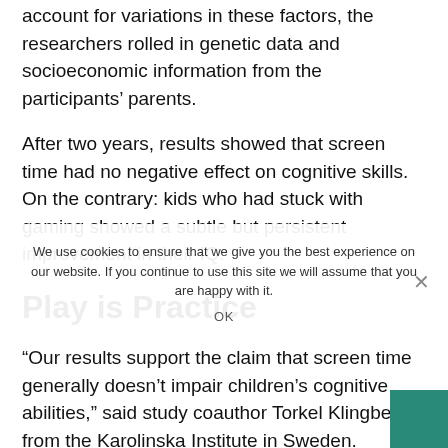account for variations in these factors, the researchers rolled in genetic data and socioeconomic information from the participants' parents.
After two years, results showed that screen time had no negative effect on cognitive skills. On the contrary: kids who had stuck with gaming showed a subtle but persistent improvement in their IQ.
Play is Practice
“Our results support the claim that screen time generally doesn’t impair children’s cognitive abilities,” said study coauthor Torkel Klingberg, from the Karolinska Institute in Sweden. Instead, “playing video games can actually help boost intelligence.”
Listen, I could have told you that. The ideas of spell